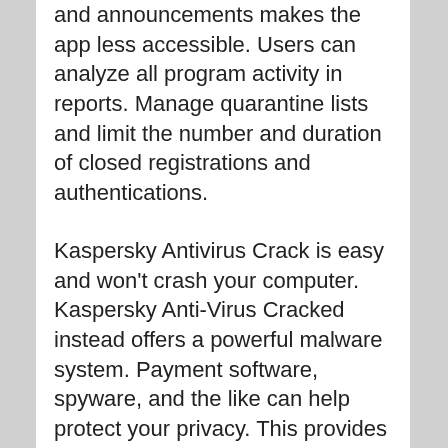and announcements makes the app less accessible. Users can analyze all program activity in reports. Manage quarantine lists and limit the number and duration of closed registrations and authentications.
Kaspersky Antivirus Crack is easy and won't crash your computer. Kaspersky Anti-Virus Cracked instead offers a powerful malware system. Payment software, spyware, and the like can help protect your privacy. This provides complete protection for your important family. This software protects your family while browsing the internet, banking, or shopping. It protects you from viruses, passwords, sensitive information, etc. protects. Helps you avoid digital dangers for your children Many devices are compatible with